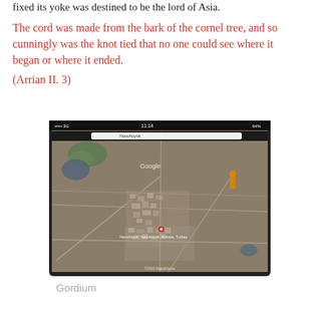fixed its yoke was destined to be the lord of Asia.
The cord was made from the bark of the cornel tree, and so cunningly was the knot tied that no one could see where it began or where it ended.
(Arrian II. 3)
[Figure (screenshot): Satellite aerial view screenshot from a tablet/phone showing Gordium (Yassıhüyük), Ankara, Turkey on Google Maps. The image shows an overhead satellite view of a small town surrounded by open terrain.]
Gordium